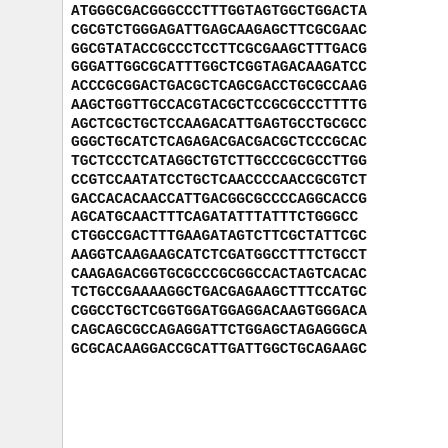ATGGGCGACGGGCCCTTTGGTAGTGGCTGGACTA...
CGCGTCTGGGAGATTGAGCAAGAGCTTCGCGAAC...
GGCGTATACCGCCCTCCTTCGCGAAGCTTTGACG...
GGGATTGGCGCATTTGGCTCGGTAGACAAGATCC...
ACCCGCGGACTGACGCTCAGCGACCTGCGCCAAG...
AAGCTGGTTGCCACGTACGCTCCGCGCCCTTTTG...
AGCTCGCTGCTCCAAGACATTGAGTGCCTGCGCC...
GGGCTGCATCTCAGAGACGACGACGCTCCCGCAC...
TGCTCCCTCATAGGCTGTCTTGCCCGCGCCTTGG...
CCGTCCAATATCCTGCTCAACCCCAACCGCGTCT...
GACCACACAAACCATTGACGGCGCCCCAGGCACCG...
AGCATGCAACTTTCAGATATTTATTCTCTGGGCC...
CTGGCCGACTTTGAAGATAGTCTTCGCTATTCGC...
AAGGTCAAGAAGCATCTCGATGGCCTTTCTGCCT...
CAAGAGACGGTGCGCCCGCGGCCACTAGTCACACT...
TCTGCCGAAAAGGCTGACGAGAAGCTTTCCATGC...
CGGCCTGCTCGGTGGATGGAGGACAAGTGGGACA...
CAGCAGCGCCAGAGGATTCTGGAGCTAGAGGGCA...
GCGCACAGGACCGCATTGATTGGCTGCAGAAGC...